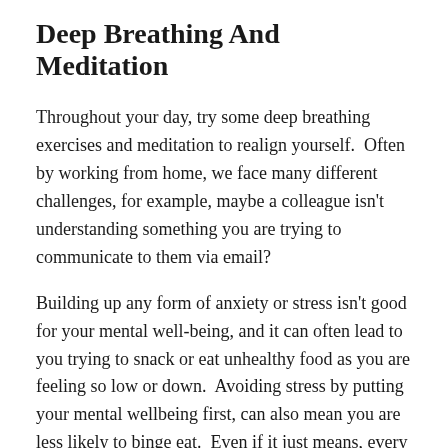Deep Breathing And Meditation
Throughout your day, try some deep breathing exercises and meditation to realign yourself.  Often by working from home, we face many different challenges, for example, maybe a colleague isn't understanding something you are trying to communicate to them via email?
Building up any form of anxiety or stress isn't good for your mental well-being, and it can often lead to you trying to snack or eat unhealthy food as you are feeling so low or down.  Avoiding stress by putting your mental wellbeing first, can also mean you are less likely to binge eat.  Even if it just means, every